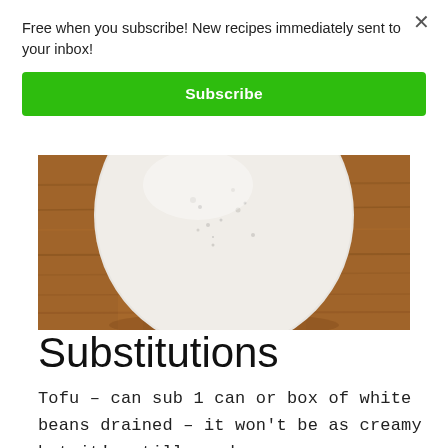Free when you subscribe! New recipes immediately sent to your inbox!
Subscribe
[Figure (photo): Close-up photo of a white/cream-colored bowl or mound of creamy dip/sauce sitting on a wooden surface with visible wood grain texture in warm brown tones.]
Substitutions
Tofu – can sub 1 can or box of white beans drained – it won't be as creamy but it's still good